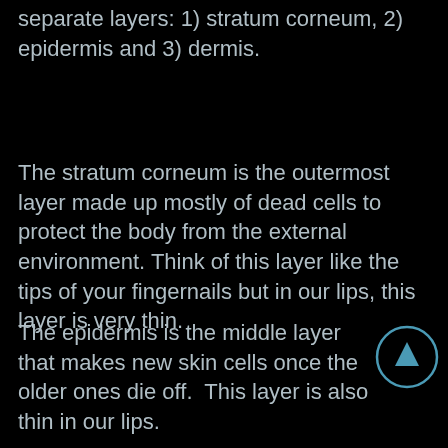separate layers: 1) stratum corneum, 2) epidermis and 3) dermis.
The stratum corneum is the outermost layer made up mostly of dead cells to protect the body from the external environment. Think of this layer like the tips of your fingernails but in our lips, this layer is very thin.
The epidermis is the middle layer that makes new skin cells once the older ones die off.  This layer is also thin in our lips.